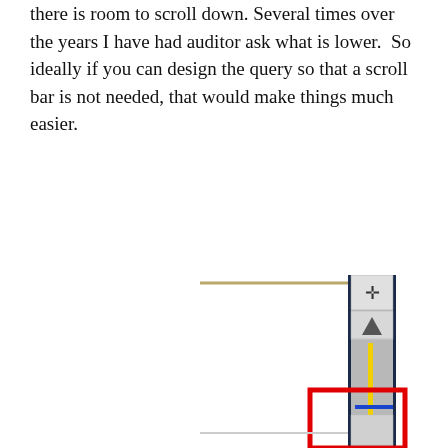there is room to scroll down. Several times over the years I have had auditor ask what is lower. So ideally if you can design the query so that a scroll bar is not needed, that would make things much easier.
[Figure (screenshot): A screenshot showing a vertical scroll bar with a dark navy border. At the top is a move/drag handle icon (cross with arrows), below that an up-arrow button, then a gray scrollbar track with a yellow vertical line and a blue horizontal line marker near the bottom. At the bottom of the image a red rectangle outline highlights the scroll thumb area at the bottom of the scrollbar.]